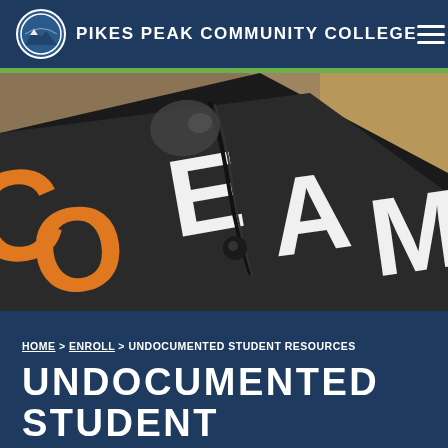PIKES PEAK COMMUNITY COLLEGE
[Figure (photo): Close-up photograph of a graduation cap decorated with large orange and white letters spelling out 'DREAM' on a dark background, with a tassel visible.]
HOME > ENROLL > UNDOCUMENTED STUDENT RESOURCES
UNDOCUMENTED STUDENT